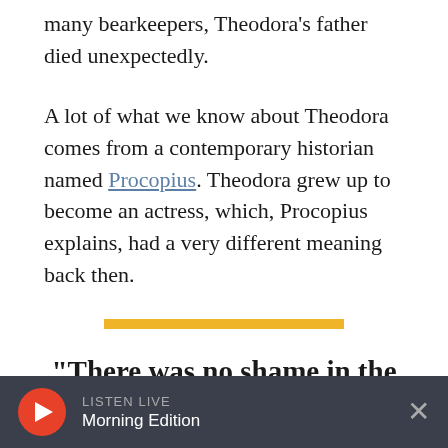many bearkeepers, Theodora's father died unexpectedly.
A lot of what we know about Theodora comes from a contemporary historian named Procopius. Theodora grew up to become an actress, which, Procopius explains, had a very different meaning back then.
[Figure (other): Yellow horizontal decorative bar divider]
"There was no shame in the girl, and no one ever saw her
LISTEN LIVE  Morning Edition